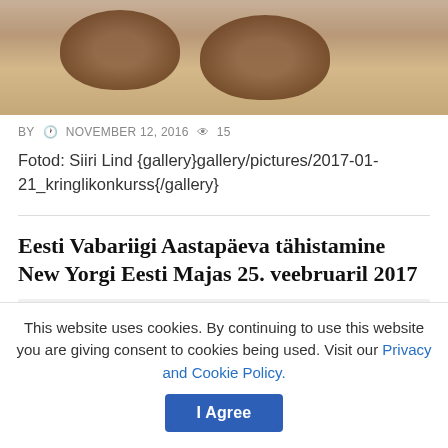[Figure (photo): Photo of baked pastries/cookies on a plate, partially visible at top of page]
BY  NOVEMBER 12, 2016  15
Fotod: Siiri Lind {gallery}gallery/pictures/2017-01-21_kringlikonkurss{/gallery}
Eesti Vabariigi Aastapäeva tähistamine New Yorgi Eesti Majas 25. veebruaril 2017
[Figure (other): Gray placeholder box for embedded content]
This website uses cookies. By continuing to use this website you are giving consent to cookies being used. Visit our Privacy and Cookie Policy.